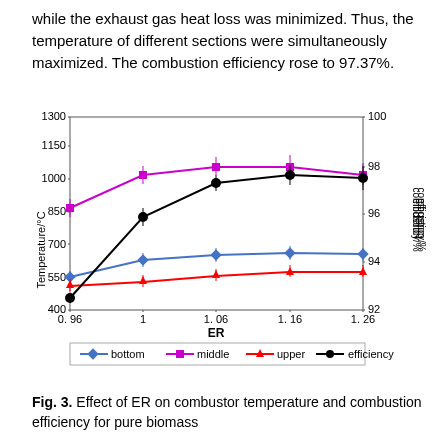while the exhaust gas heat loss was minimized. Thus, the temperature of different sections were simultaneously maximized. The combustion efficiency rose to 97.37%.
[Figure (line-chart): ]
Fig. 3. Effect of ER on combustor temperature and combustion efficiency for pure biomass